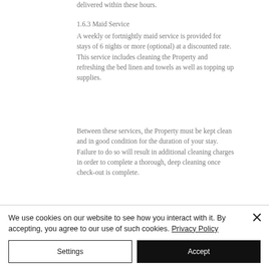1.6.3 Maid Service
A weekly or fortnightly maid service is provided for stays of 6 nights or more (optional) at a discounted rate. This service includes cleaning the Property and refreshing the bed linen and towels as well as topping up supplies.
Between these services, the Property must be kept clean and in good condition for the duration of your stay. Failure to do so will result in additional cleaning charges in order to complete a thorough, deep cleaning once check-out is complete.
We use cookies on our website to see how you interact with it. By accepting, you agree to our use of such cookies. Privacy Policy
Settings
Accept